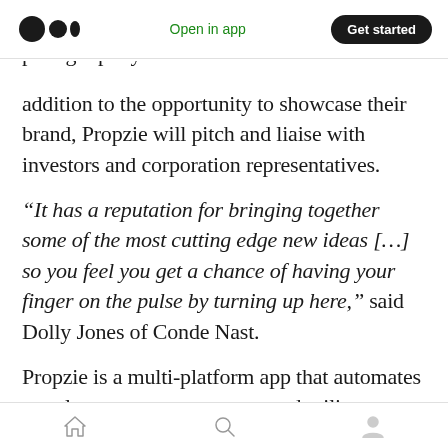Medium logo | Open in app | Get started
addition to the opportunity to showcase their brand, Propzie will pitch and liaise with investors and corporation representatives.
“It has a reputation for bringing together some of the most cutting edge new ideas […] so you feel you get a chance of having your finger on the pulse by turning up here,” said Dolly Jones of Conde Nast.
Propzie is a multi-platform app that automates rental property management and utilizes a service provider marketplace to help landlords
Home | Search | Profile